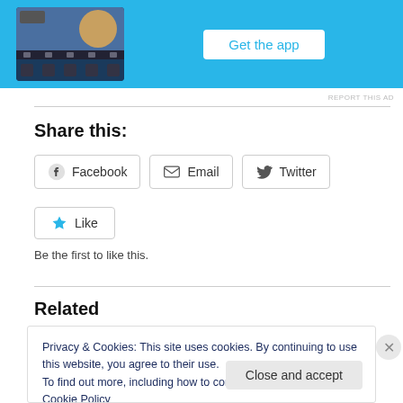[Figure (screenshot): Advertisement banner with blue background showing a phone screen with a dog image and a 'Get the app' button]
REPORT THIS AD
Share this:
[Figure (other): Facebook, Email, and Twitter share buttons]
[Figure (other): Like button with star icon]
Be the first to like this.
Related
Privacy & Cookies: This site uses cookies. By continuing to use this website, you agree to their use.
To find out more, including how to control cookies, see here: Cookie Policy